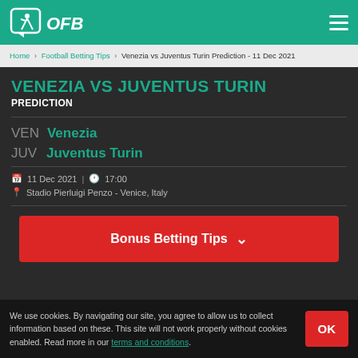OFB
Home › Football Betting Tips › Venezia vs Juventus Turin Prediction - 11 Dec 2021
VENEZIA VS JUVENTUS TURIN PREDICTION
VEN Venezia
JUV Juventus Turin
11 Dec 2021 | 17:00
Stadio Pierluigi Penzo - Venice, Italy
Bonus Betting Tips
We use cookies. By navigating our site, you agree to allow us to collect information based on these. This site will not work properly without cookies enabled. Read more in our terms and conditions.